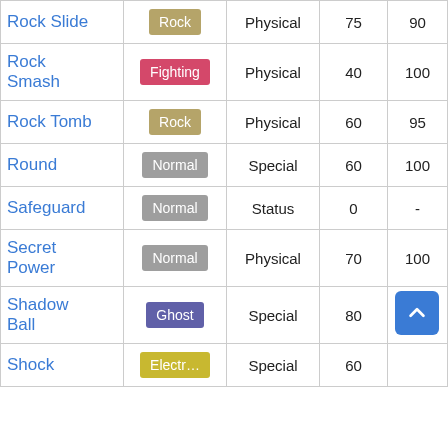| Move | Type | Category | Power | Accuracy |
| --- | --- | --- | --- | --- |
| Rock Slide | Rock | Physical | 75 | 90 |
| Rock Smash | Fighting | Physical | 40 | 100 |
| Rock Tomb | Rock | Physical | 60 | 95 |
| Round | Normal | Special | 60 | 100 |
| Safeguard | Normal | Status | 0 | - |
| Secret Power | Normal | Physical | 70 | 100 |
| Shadow Ball | Ghost | Special | 80 | 100 |
| Shock | Electric | Special | 60 | … |